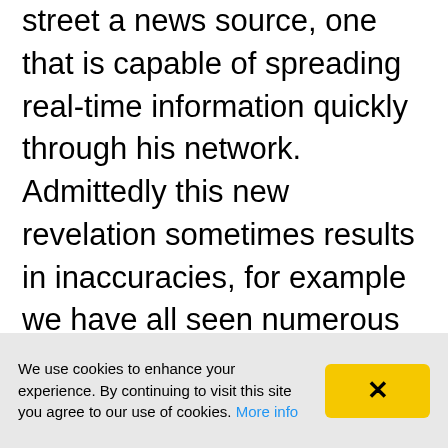street a news source, one that is capable of spreading real-time information quickly through his network. Admittedly this new revelation sometimes results in inaccuracies, for example we have all seen numerous false reports of dead celebrities on Twitter. Never before in our history has there been such a burning desire to guard and disseminate news in such a global and instantaneous way. This actually poses a problem for businesses, who may find themselves in a difficult situation when coping with the speed with which social media news
We use cookies to enhance your experience. By continuing to visit this site you agree to our use of cookies. More info